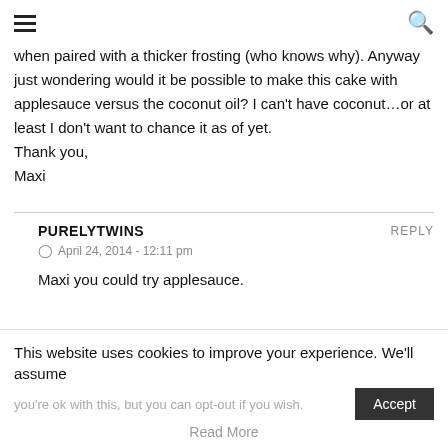hamburger menu | search icon
when paired with a thicker frosting (who knows why). Anyway just wondering would it be possible to make this cake with applesauce versus the coconut oil? I can’t have coconut…or at least I don’t want to chance it as of yet.
Thank you,
Maxi
PURELYTWINS
April 24, 2014 - 12:11 pm
Maxi you could try applesauce.
This website uses cookies to improve your experience. We’ll assume you’re ok with this, but you can opt-out if you wish. Accept Read More